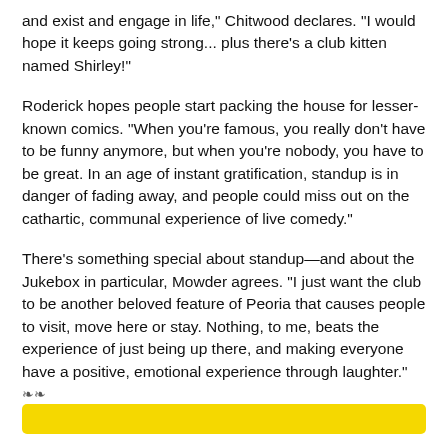and exist and engage in life,” Chitwood declares. “I would hope it keeps going strong… plus there’s a club kitten named Shirley!”
Roderick hopes people start packing the house for lesser-known comics. “When you’re famous, you really don’t have to be funny anymore, but when you’re nobody, you have to be great. In an age of instant gratification, standup is in danger of fading away, and people could miss out on the cathartic, communal experience of live comedy.”
There’s something special about standup—and about the Jukebox in particular, Mowder agrees. “I just want the club to be another beloved feature of Peoria that causes people to visit, move here or stay. Nothing, to me, beats the experience of just being up there, and making everyone have a positive, emotional experience through laughter.”
[Figure (other): Yellow rounded rectangle button/bar at bottom of page]